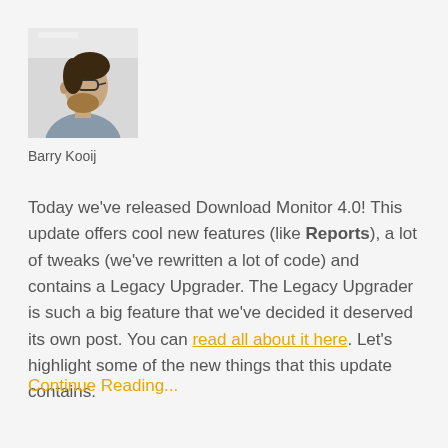[Figure (photo): Profile photo of Barry Kooij, a man with glasses and beard seen from the side, wearing a grey shirt]
Barry Kooij
Today we've released Download Monitor 4.0! This update offers cool new features (like Reports), a lot of tweaks (we've rewritten a lot of code) and contains a Legacy Upgrader. The Legacy Upgrader is such a big feature that we've decided it deserved its own post. You can read all about it here. Let's highlight some of the new things that this update contains.
Continue Reading...